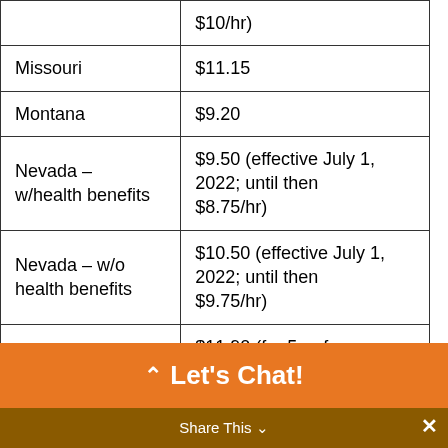| State | Minimum Wage |
| --- | --- |
|  | $10/hr) |
| Missouri | $11.15 |
| Montana | $9.20 |
| Nevada – w/health benefits | $9.50 (effective July 1, 2022; until then $8.75/hr) |
| Nevada – w/o health benefits | $10.50 (effective July 1, 2022; until then $9.75/hr) |
| New Jersey | $11.90 (for 5 or fewer employees) |
| N |  |